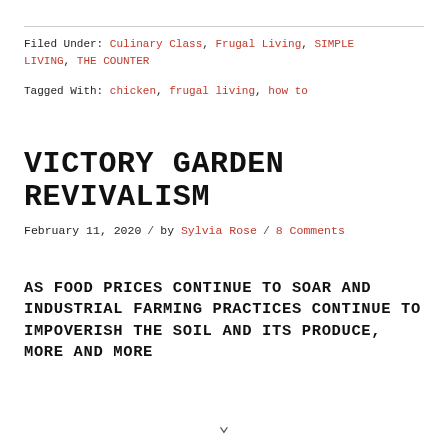Filed Under: Culinary Class, Frugal Living, SIMPLE LIVING, THE COUNTER
Tagged With: chicken, frugal living, how to
VICTORY GARDEN REVIVALISM
February 11, 2020 / by Sylvia Rose / 8 Comments
AS FOOD PRICES CONTINUE TO SOAR AND INDUSTRIAL FARMING PRACTICES CONTINUE TO IMPOVERISH THE SOIL AND ITS PRODUCE, MORE AND MORE